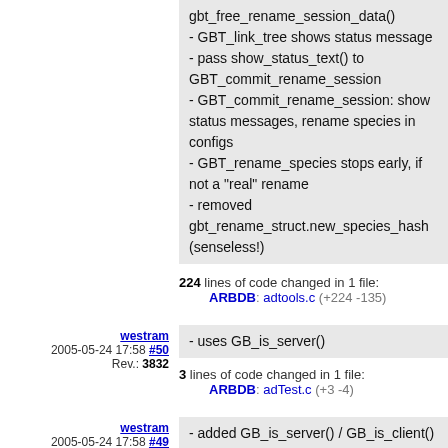gbt_free_rename_session_data()
- GBT_link_tree shows status message
- pass show_status_text() to GBT_commit_rename_session
- GBT_commit_rename_session: show status messages, rename species in configs
- GBT_rename_species stops early, if not a "real" rename
- removed gbt_rename_struct.new_species_hash (senseless!)
224 lines of code changed in 1 file:
ARBDB: adtools.c (+224 -135)
westram
2005-05-24 17:58 #50
Rev.: 3832
- uses GB_is_server()
3 lines of code changed in 1 file:
ARBDB: adTest.c (+3 -4)
westram
2005-05-24 17:58 #49
Rev.: 3831
- added GB_is_server() / GB_is_client()
17 lines of code changed in 1 file:
ARBDB: adcomm.c (+17 -5)